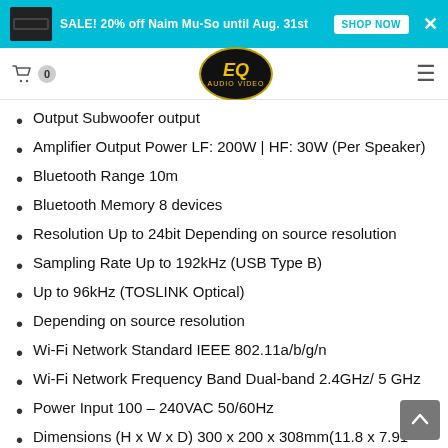SALE! 20% off Naim Mu-So until Aug. 31st
Output Subwoofer output
Amplifier Output Power LF: 200W | HF: 30W (Per Speaker)
Bluetooth Range 10m
Bluetooth Memory 8 devices
Resolution Up to 24bit Depending on source resolution
Sampling Rate Up to 192kHz (USB Type B)
Up to 96kHz (TOSLINK Optical)
Depending on source resolution
Wi-Fi Network Standard IEEE 802.11a/b/g/n
Wi-Fi Network Frequency Band Dual-band 2.4GHz/ 5 GHz
Power Input 100 – 240VAC 50/60Hz
Dimensions (H x W x D) 300 x 200 x 308mm(11.8 x 7.91 x 12.1in.)